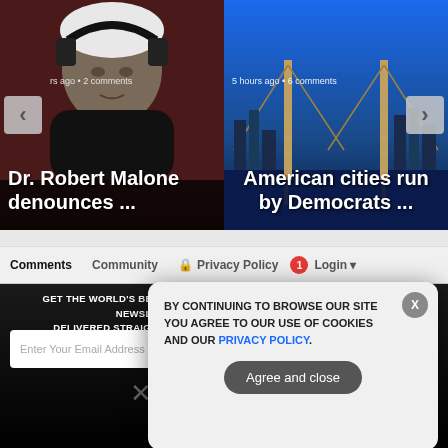[Figure (screenshot): Left carousel card: man with headphones on dark background, article about Dr. Robert Malone]
rs ago • 2 comments
Dr. Robert Malone denounces ...
[Figure (screenshot): Right carousel card: bridge/city skyline photo, article about American cities run by Democrats]
5 hours ago • 6 comments
American cities run by Democrats ...
Comments   Community   Privacy Policy   1   Login
GET THE WORLD'S BEST NATURAL HEALTH NEWSLETTER DELIVERED STRAIGHT TO YOUR INBOX
Enter Your Email Address
SUBSCRIBE
BY CONTINUING TO BROWSE OUR SITE YOU AGREE TO OUR USE OF COOKIES AND OUR PRIVACY POLICY.
Agree and close